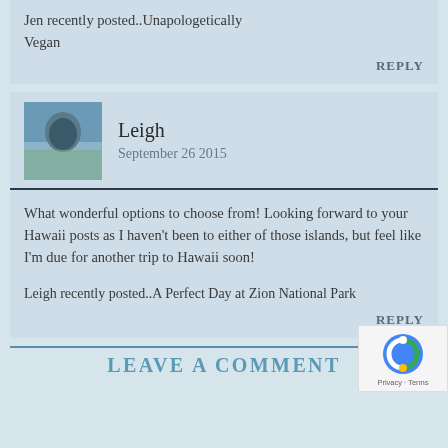Jen recently posted..Unapologetically Vegan
REPLY
Leigh
September 26 2015
What wonderful options to choose from! Looking forward to your Hawaii posts as I haven't been to either of those islands, but feel like I'm due for another trip to Hawaii soon!
Leigh recently posted..A Perfect Day at Zion National Park
REPLY
LEAVE A COMMENT